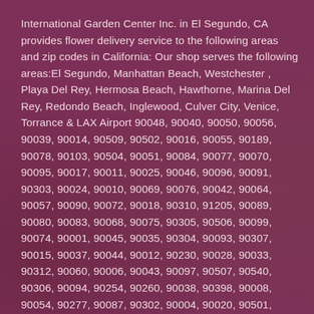International Garden Center Inc. in El Segundo, CA provides flower delivery service to the following areas and zip codes in California: Our shop serves the following areas:El Segundo, Manhattan Beach, Westchester , Playa Del Rey, Hermosa Beach, Hawthorne, Marina Del Rey, Redondo Beach, Inglewood, Culver City, Venice, Torrance & LAX Airport 90048, 90040, 90050, 90056, 90039, 90014, 90509, 90502, 90016, 90055, 90189, 90078, 90103, 90504, 90051, 90084, 90077, 90070, 90095, 90017, 90011, 90025, 90046, 90096, 90091, 90303, 90024, 90010, 90069, 90076, 90042, 90064, 90057, 90090, 90072, 90018, 90310, 91205, 90089, 90080, 90083, 90068, 90075, 90305, 90506, 90099, 90074, 90001, 90045, 90035, 90304, 90093, 90307, 90015, 90037, 90044, 90012, 90230, 90028, 90033, 90312, 90060, 90006, 90043, 90097, 90507, 90540, 90306, 90094, 90254, 90260, 90038, 90398, 90008, 90054, 90277, 90087, 90302, 90004, 90020, 90501, 90032, 90079, 90063, 90066, 90058, 90503, 91006, 90313, 90021, 90397, 90030, 90102, 90059, 99998, 90071, 90067, 90245, 90005, 90267.